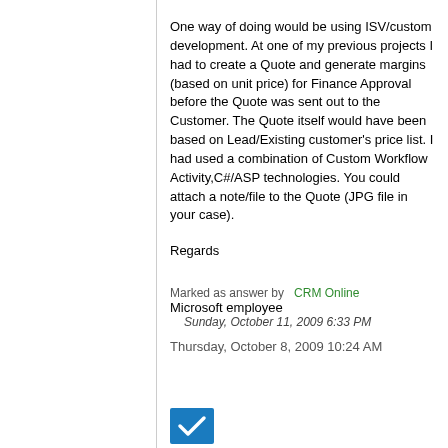One way of doing would be using ISV/custom development. At one of my previous projects I had to create a Quote and generate margins (based on unit price) for Finance Approval before the Quote was sent out to the Customer. The Quote itself would have been based on Lead/Existing customer's price list. I had used a combination of Custom Workflow Activity,C#/ASP technologies. You could attach a note/file to the Quote (JPG file in your case).
Regards
Marked as answer by   CRM Online Microsoft employee   Sunday, October 11, 2009 6:33 PM
Thursday, October 8, 2009 10:24 AM
[Figure (other): Blue checkmark/verification icon at bottom of page]